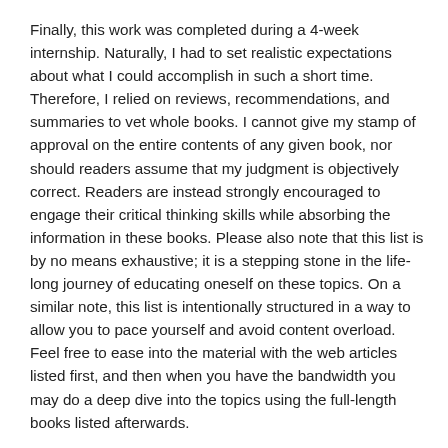Finally, this work was completed during a 4-week internship. Naturally, I had to set realistic expectations about what I could accomplish in such a short time. Therefore, I relied on reviews, recommendations, and summaries to vet whole books. I cannot give my stamp of approval on the entire contents of any given book, nor should readers assume that my judgment is objectively correct. Readers are instead strongly encouraged to engage their critical thinking skills while absorbing the information in these books. Please also note that this list is by no means exhaustive; it is a stepping stone in the life-long journey of educating oneself on these topics. On a similar note, this list is intentionally structured in a way to allow you to pace yourself and avoid content overload. Feel free to ease into the material with the web articles listed first, and then when you have the bandwidth you may do a deep dive into the topics using the full-length books listed afterwards.